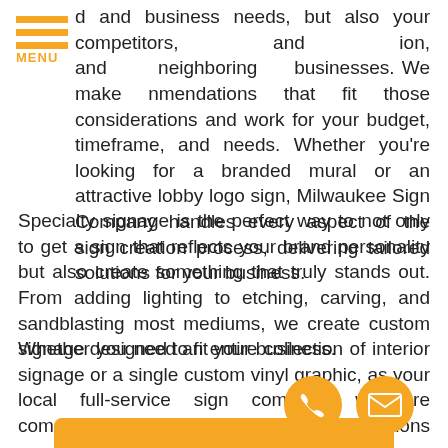[Figure (logo): Hamburger menu icon with three orange horizontal bars and MENU label in orange]
d and business needs, but also your competitors, and ion, and neighboring businesses. We make nmendations that fit those considerations and work for your budget, timeframe, and needs. Whether you're looking for a branded mural or an attractive lobby logo sign, Milwaukee Sign Company handles every aspect of the sign creation process, delivering tailored solutions for your business.
Specialty signage is the perfect way to not only to get a sign that reflects your brand personality but also create something that truly stands out. From adding lighting to etching, carving, and sandblasting most mediums, we create custom signage designed to fit your business.
Whether you need an entire collection of interior signage or a single custom vinyl graphic, as your local full-service sign company, we are committed to delivering the signage solutions your business needs to increase your presence and reach new market success.